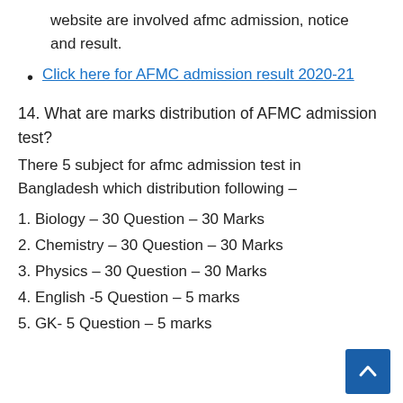website are involved afmc admission, notice and result.
Click here for AFMC admission result 2020-21
14. What are marks distribution of AFMC admission test?
There 5 subject for afmc admission test in Bangladesh which distribution following –
1. Biology – 30 Question – 30 Marks
2. Chemistry – 30 Question – 30 Marks
3. Physics – 30 Question – 30 Marks
4. English -5 Question – 5 marks
5. GK- 5 Question – 5 marks